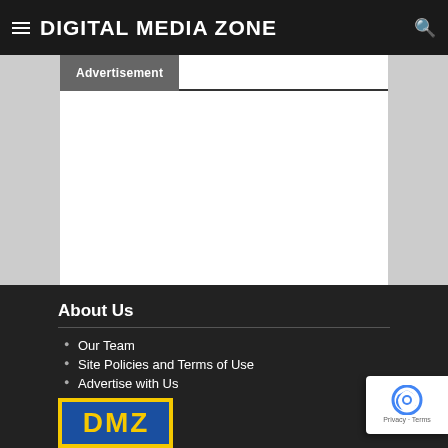THE DIGITAL MEDIA ZONE
Advertisement
About Us
Our Team
Site Policies and Terms of Use
Advertise with Us
Contact Us
[Figure (logo): Digital Media Zone (DMZ) logo in yellow and blue]